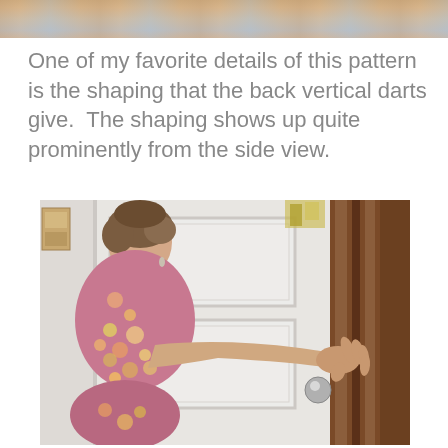[Figure (photo): Partial top photo strip showing colorful floral fabric and background, cropped at top of page]
One of my favorite details of this pattern is the shaping that the back vertical darts give.  The shaping shows up quite prominently from the side view.
[Figure (photo): Woman with short brown hair wearing a floral pink/yellow/white top, shown from a side view, reaching out to touch a white paneled door with a brown wooden door frame on the right. A small decorative item is visible on the wall to the left.]